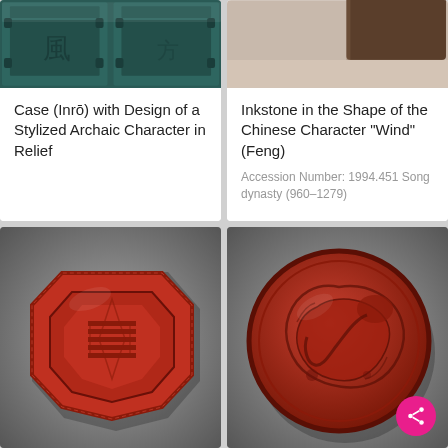[Figure (photo): Top portion of a Case (Inrō) with dark teal/green lacquer finish showing two panels side by side]
Case (Inrō) with Design of a Stylized Archaic Character in Relief
[Figure (photo): Top portion of an inkstone, brown/tan stone with flat surface, corner visible]
Inkstone in the Shape of the Chinese Character "Wind" (Feng)
Accession Number: 1994.451 Song dynasty (960–1279)
[Figure (photo): Red lacquer octagonal box with intricate carved geometric and floral designs on a gray gradient background]
[Figure (photo): Red/brown circular lacquer dish with carved dragon design on gray gradient background, with pink share button]